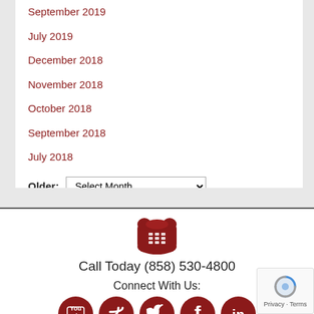September 2019
July 2019
December 2018
November 2018
October 2018
September 2018
July 2018
Older: Select Month
[Figure (infographic): Red telephone icon above 'Call Today (858) 530-4800' text and social media icons for YouTube, RSS, Twitter, Facebook, LinkedIn. Sponsored By banner and Dudek Law Firm APC firm name below.]
Call Today (858) 530-4800
Connect With Us:
Sponsored By
Dudek Law Firm APC